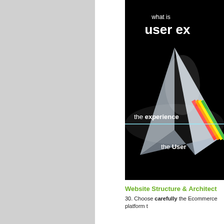[Figure (illustration): A dark (black background) book or presentation cover showing 'what is user ex[perience]' at the top in white text, with a crystalline prism-like 3D shape in the center-right. The prism has rainbow colors. Text labels 'the experience' and 'the User' appear on different levels of the prism, separated by a horizontal cyan/teal line.]
Website Structure & Architect[ure]
30. Choose carefully the Ecommerce platform t[hat…]